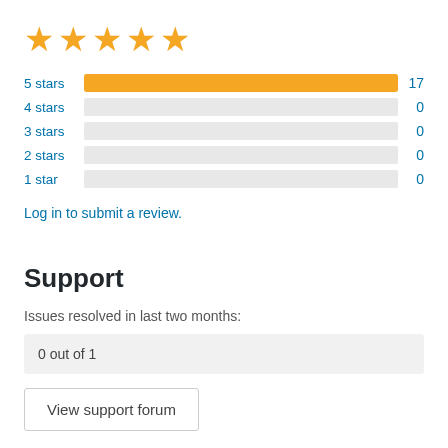[Figure (bar-chart): Star ratings]
Log in to submit a review.
Support
Issues resolved in last two months:
0 out of 1
View support forum
Donate